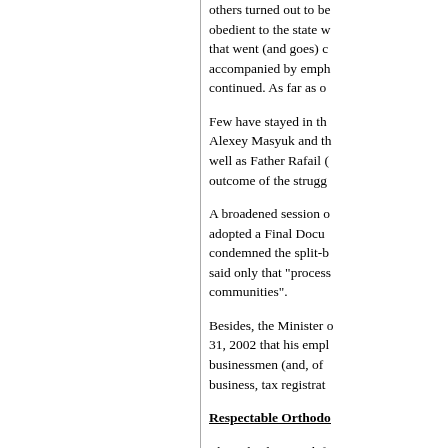others turned out to be obedient to the state w... that went (and goes) c... accompanied by emph... continued. As far as o...
Few have stayed in th... Alexey Masyuk and th... well as Father Rafail (... outcome of the strugg...
A broadened session o... adopted a Final Docu... condemned the split-b... said only that "process... communities".
Besides, the Minister o... 31, 2002 that his empl... businessmen (and, of ... business, tax registrat...
Respectable Orthodo...
The radicals were defe... moderate Orthodox an...
In addition to the abov...